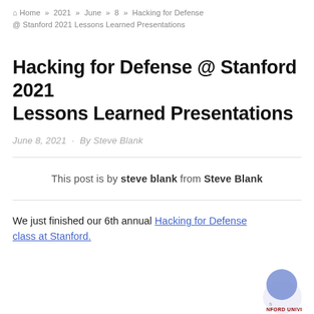Home » 2021 » June » 8 » Hacking for Defense @ Stanford 2021 Lessons Learned Presentations
Hacking for Defense @ Stanford 2021 Lessons Learned Presentations
June 8, 2021 · By Steve Blank
This post is by steve blank from Steve Blank
We just finished our 6th annual Hacking for Defense class at Stanford.
[Figure (logo): Stanford University seal/logo, partially visible at bottom right corner]